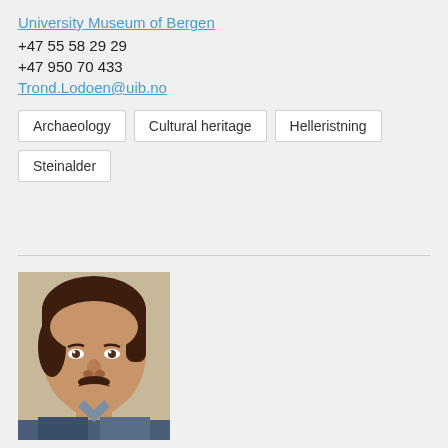University Museum of Bergen
+47 55 58 29 29
+47 950 70 433
Trond.Lodoen@uib.no
Archaeology
Cultural heritage
Helleristning
Steinalder
[Figure (photo): Portrait photo of a middle-aged man with dark brown hair, mustache, wearing a blue shirt and jacket, photographed indoors.]